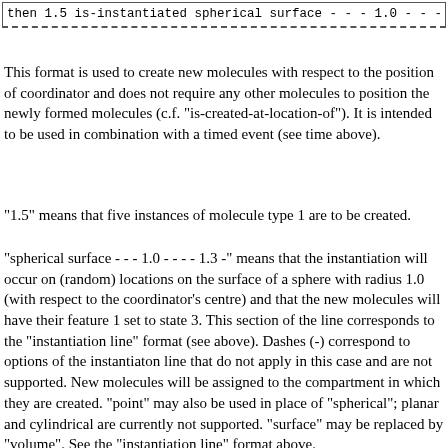then 1.5 is-instantiated spherical surface - - - 1.0 - - - - 1.1 -
This format is used to create new molecules with respect to the position of coordinator and does not require any other molecules to position the newly formed molecules (c.f. "is-created-at-location-of"). It is intended to be used in combination with a timed event (see time above).
"1.5" means that five instances of molecule type 1 are to be created.
"spherical surface - - - 1.0 - - - - 1.3 -" means that the instantiation will occur on (random) locations on the surface of a sphere with radius 1.0 (with respect to the coordinator's centre) and that the new molecules will have their feature 1 set to state 3. This section of the line corresponds to the "instantiation line" format (see above). Dashes (-) correspond to options of the instantiaton line that do not apply in this case and are not supported. New molecules will be assigned to the compartment in which they are created. "point" may also be used in place of "spherical"; planar and cylindrical are currently not supported. "surface" may be replaced by "volume". See the "instantiation line" format above.